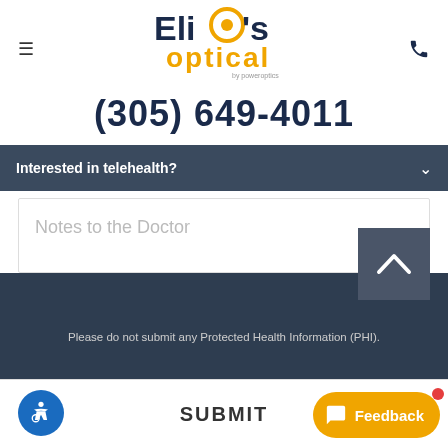[Figure (logo): Elio's Optical by PowerOptics logo with stylized eye in the letter O]
(305) 649-4011
Interested in telehealth?
Notes to the Doctor
Please do not submit any Protected Health Information (PHI).
SUBMIT